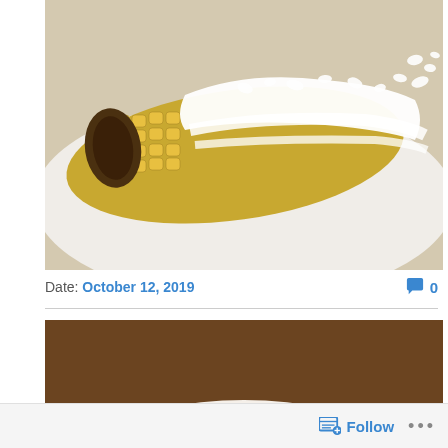[Figure (photo): Close-up photo of grilled corn on the cob on a white plate, covered with white crumbled cheese (cotija), cream sauce drizzled over it. The corn appears charred/grilled on the left side.]
Date: October 12, 2019   💬 0
[Figure (photo): Photo of food on a white plate from above - shows corn on the cob covered with white cream and crumbled cotija cheese on the right side, and a grain/couscous salad with red peppers and herbs on the left side.]
Follow  ...